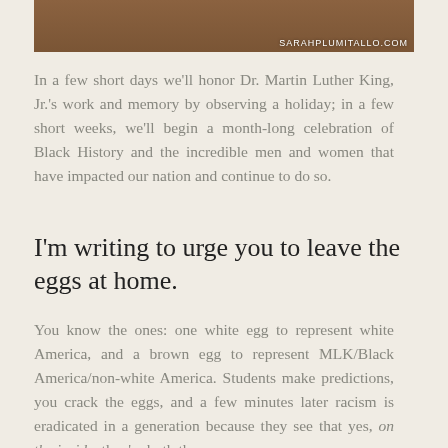[Figure (photo): Partial photo of a person with watermark text SARAHPLUMITALLO.COM in the bottom right corner]
In a few short days we'll honor Dr. Martin Luther King, Jr.'s work and memory by observing a holiday; in a few short weeks, we'll begin a month-long celebration of Black History and the incredible men and women that have impacted our nation and continue to do so.
I'm writing to urge you to leave the eggs at home.
You know the ones: one white egg to represent white America, and a brown egg to represent MLK/Black America/non-white America. Students make predictions, you crack the eggs, and a few minutes later racism is eradicated in a generation because they see that yes, on the inside, they're both the same.